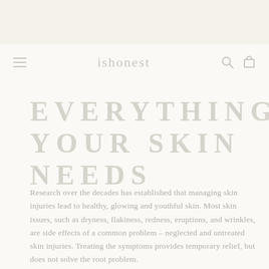[Figure (other): Top decorative banner with warm beige/cream background and faint watermark-style text]
ishonest
EVERYTHING YOUR SKIN NEEDS
Research over the decades has established that managing skin injuries lead to healthy, glowing and youthful skin. Most skin issues, such as dryness, flakiness, redness, eruptions, and wrinkles, are side effects of a common problem – neglected and untreated skin injuries. Treating the symptoms provides temporary relief, but does not solve the root problem.